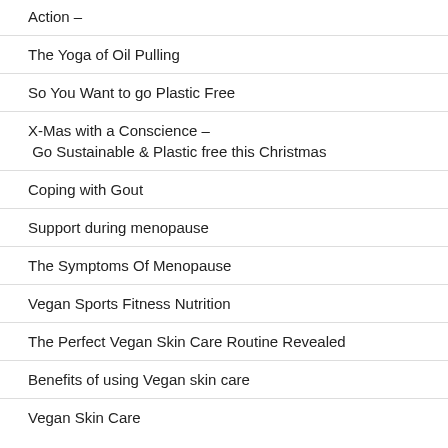Action –
The Yoga of Oil Pulling
So You Want to go Plastic Free
X-Mas with a Conscience –
 Go Sustainable & Plastic free this Christmas
Coping with Gout
Support during menopause
The Symptoms Of Menopause
Vegan Sports Fitness Nutrition
The Perfect Vegan Skin Care Routine Revealed
Benefits of using Vegan skin care
Vegan Skin Care